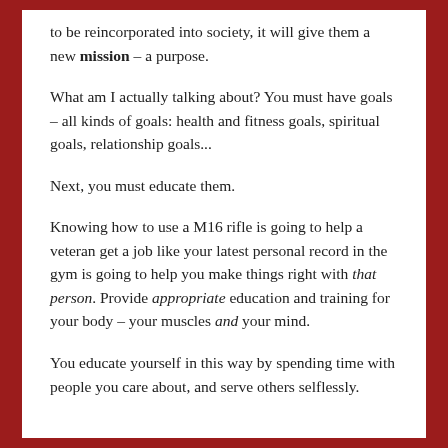to be reincorporated into society, it will give them a new mission – a purpose.
What am I actually talking about? You must have goals – all kinds of goals: health and fitness goals, spiritual goals, relationship goals...
Next, you must educate them.
Knowing how to use a M16 rifle is going to help a veteran get a job like your latest personal record in the gym is going to help you make things right with that person. Provide appropriate education and training for your body – your muscles and your mind.
You educate yourself in this way by spending time with people you care about, and serve others selflessly.